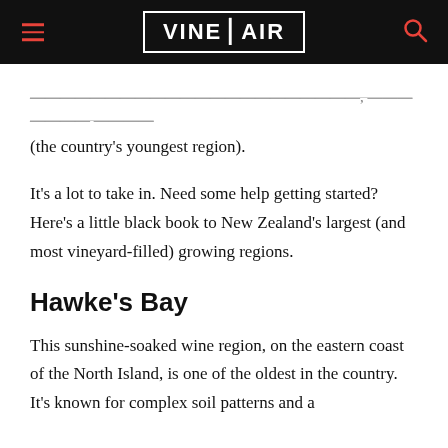VINEPAIR
... (the country's youngest region).
It's a lot to take in. Need some help getting started? Here's a little black book to New Zealand's largest (and most vineyard-filled) growing regions.
Hawke's Bay
This sunshine-soaked wine region, on the eastern coast of the North Island, is one of the oldest in the country. It's known for complex soil patterns and a